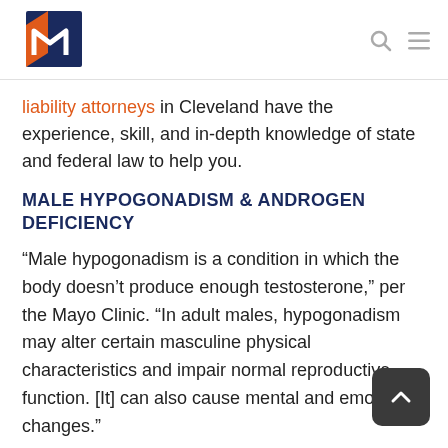[Logo: M icon] [Search icon] [Menu icon]
liability attorneys in Cleveland have the experience, skill, and in-depth knowledge of state and federal law to help you.
MALE HYPOGONADISM & ANDROGEN DEFICIENCY
“Male hypogonadism is a condition in which the body doesn’t produce enough testosterone,” per the Mayo Clinic. “In adult males, hypogonadism may alter certain masculine physical characteristics and impair normal reproductive function. [It] can also cause mental and emotional changes.”